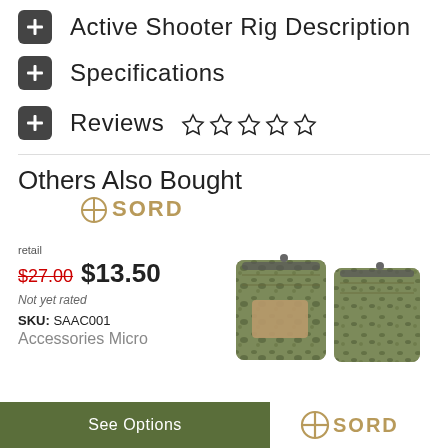Active Shooter Rig Description
Specifications
Reviews ☆☆☆☆☆
Others Also Bought
[Figure (logo): SORD logo with crosshair symbol in tan/gold color]
retail $27.00 $13.50
Not yet rated
SKU: SAAC001
Accessories Micro
[Figure (photo): Two SORD Accessories Micro pouches in multicam camouflage pattern shown from the front]
See Options
[Figure (logo): SORD logo with crosshair symbol in tan/gold color at bottom right]